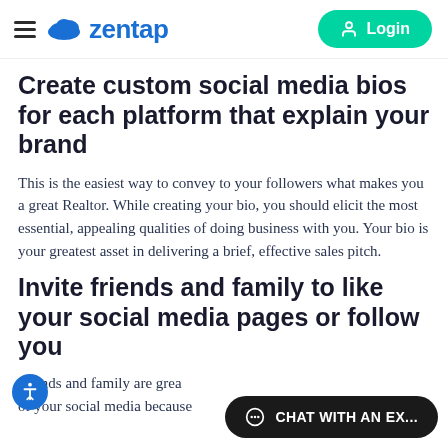zentap  Login
Create custom social media bios for each platform that explain your brand
This is the easiest way to convey to your followers what makes you a great Realtor. While creating your bio, you should elicit the most essential, appealing qualities of doing business with you. Your bio is your greatest asset in delivering a brief, effective sales pitch.
Invite friends and family to like your social media pages or follow you
Friends and family are great... of your social media because...